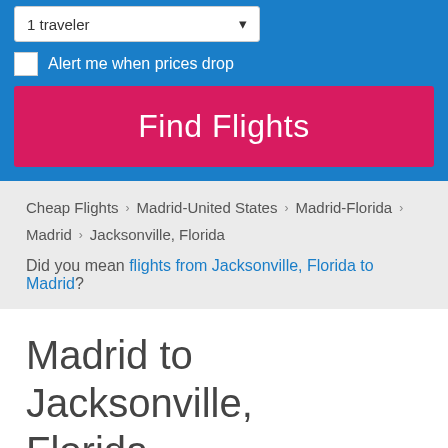1 traveler
Alert me when prices drop
Find Flights
Cheap Flights > Madrid-United States > Madrid-Florida > Madrid > Jacksonville, Florida
Did you mean flights from Jacksonville, Florida to Madrid?
Madrid to Jacksonville, Florida
Oops — We've scanned 31,729 round trip itineraries